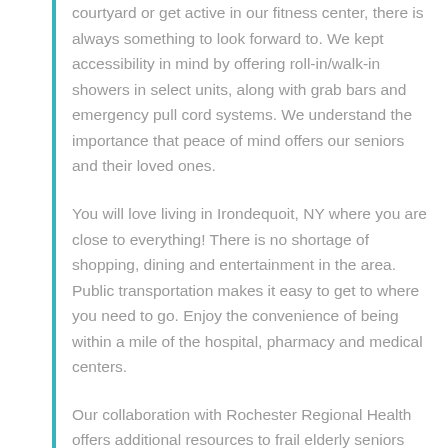courtyard or get active in our fitness center, there is always something to look forward to. We kept accessibility in mind by offering roll-in/walk-in showers in select units, along with grab bars and emergency pull cord systems. We understand the importance that peace of mind offers our seniors and their loved ones.
You will love living in Irondequoit, NY where you are close to everything! There is no shortage of shopping, dining and entertainment in the area. Public transportation makes it easy to get to where you need to go. Enjoy the convenience of being within a mile of the hospital, pharmacy and medical centers.
Our collaboration with Rochester Regional Health offers additional resources to frail elderly seniors who are enrolled in Medicaid and need assistance with personal care/community living. This includes, but is not limited to, such activities as shopping, laundry and